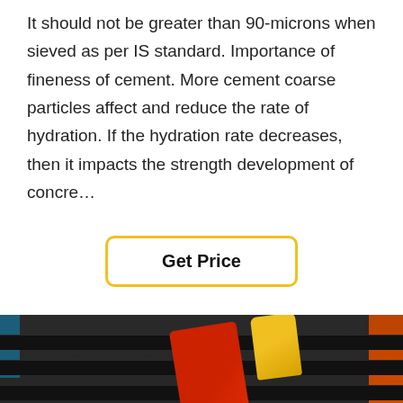It should not be greater than 90-microns when sieved as per IS standard. Importance of fineness of cement. More cement coarse particles affect and reduce the rate of hydration. If the hydration rate decreases, then it impacts the strength development of concre…
[Figure (other): Button with yellow border labeled 'Get Price']
[Figure (photo): Industrial vibrating screen equipment with black horizontal bars, a red vertical element (jaw crusher part), yellow handle at top, orange strip on right side, and a customer service representative chat overlay at the bottom with a 'Leave Message' and 'Chat Online' bar]